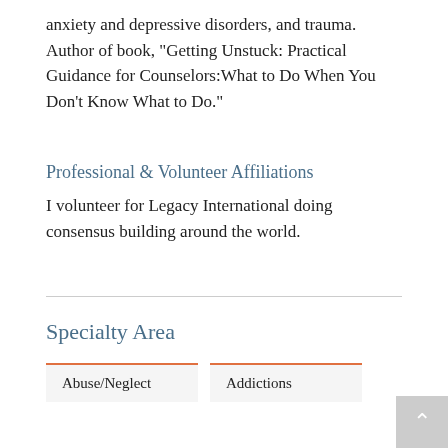anxiety and depressive disorders, and trauma. Author of book, "Getting Unstuck: Practical Guidance for Counselors:What to Do When You Don't Know What to Do."
Professional & Volunteer Affiliations
I volunteer for Legacy International doing consensus building around the world.
Specialty Area
| Abuse/Neglect | Addictions |